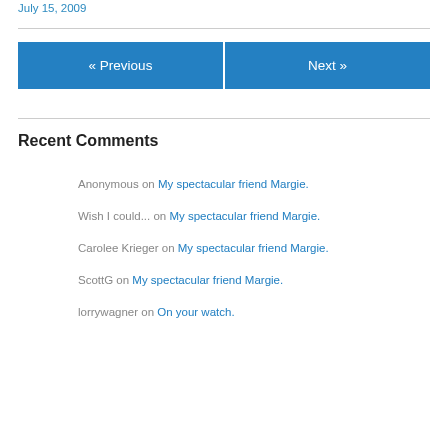July 15, 2009
« Previous
Next »
Recent Comments
Anonymous on My spectacular friend Margie.
Wish I could... on My spectacular friend Margie.
Carolee Krieger on My spectacular friend Margie.
ScottG on My spectacular friend Margie.
lorrywagner on On your watch.